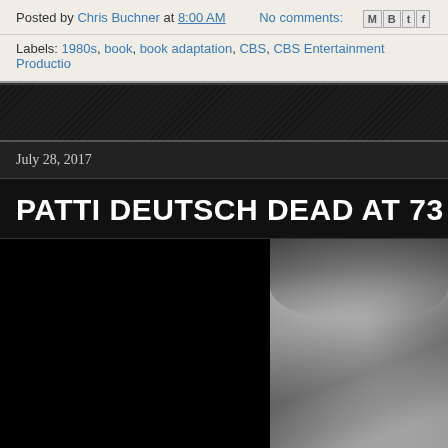Posted by Chris Buchner at 8:00 AM   No comments:
Labels: 1980s, book, book adaptation, CBS, CBS Entertainment Productio…
July 28, 2017
PATTI DEUTSCH DEAD AT 73
[Figure (photo): Black and white portrait photograph of Patti Deutsch, a woman with blonde hair with bangs, looking slightly to the side with a slight smile]